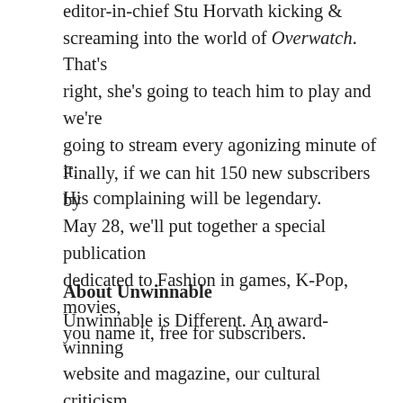editor-in-chief Stu Horvath kicking & screaming into the world of Overwatch. That's right, she's going to teach him to play and we're going to stream every agonizing minute of it. His complaining will be legendary.
Finally, if we can hit 150 new subscribers by May 28, we'll put together a special publication dedicated to Fashion in games, K-Pop, movies, you name it, free for subscribers.
About Unwinnable
Unwinnable is Different. An award-winning website and magazine, our cultural criticism ranges from the silly (like this photo essay on sex toys) to the serious (like Yussef Cole's look at the racist roots of Cuphead's animation style). We let our writers – fresh amateurs and